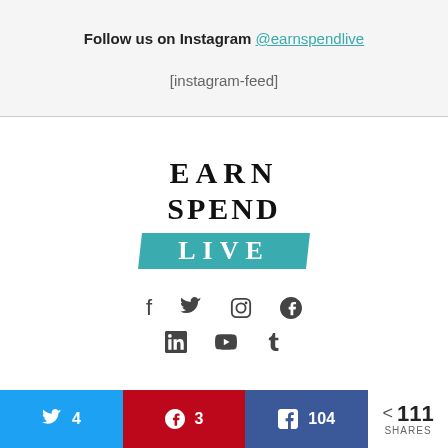Follow us on Instagram @earnspendlive
[instagram-feed]
[Figure (logo): Earn Spend Live logo — serif text EARN SPEND above a teal parallelogram banner reading LIVE]
[Figure (infographic): Social media icons: Facebook, Twitter, Instagram, Pinterest (row 1); LinkedIn, YouTube, Tumblr (row 2)]
4  3  104  < 111 SHARES